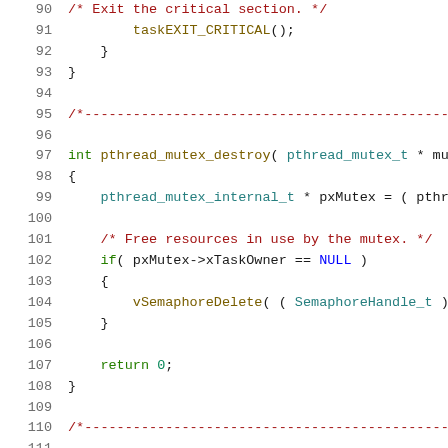[Figure (screenshot): Source code listing in C showing lines 90-111, including pthread_mutex_destroy function implementation with line numbers, syntax highlighting in a code editor style. Contains comments, type declarations, function calls for vSemaphoreDelete, and return statement.]